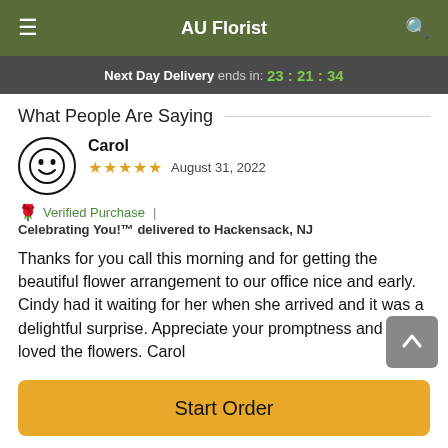AU Florist
Next Day Delivery ends in: 23 : 21 : 34
What People Are Saying
Carol
★★★★★  August 31, 2022
🌹 Verified Purchase | Celebrating You!™ delivered to Hackensack, NJ
Thanks for you call this morning and for getting the beautiful flower arrangement to our office nice and early. Cindy had it waiting for her when she arrived and it was a delightful surprise. Appreciate your promptness and also loved the flowers. Carol
Start Order